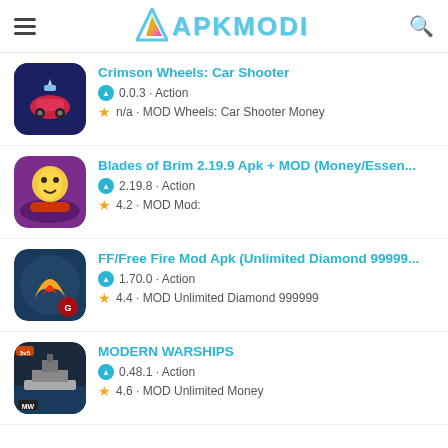APKMODI
Crimson Wheels: Car Shooter
0.0.3 · Action
n/a · MOD Wheels: Car Shooter Money
Blades of Brim 2.19.9 Apk + MOD (Money/Essen...
2.19.8 · Action
4.2 · MOD Mod:
FF/Free Fire Mod Apk (Unlimited Diamond 99999...
1.70.0 · Action
4.4 · MOD Unlimited Diamond 999999
MODERN WARSHIPS
0.48.1 · Action
4.6 · MOD Unlimited Money